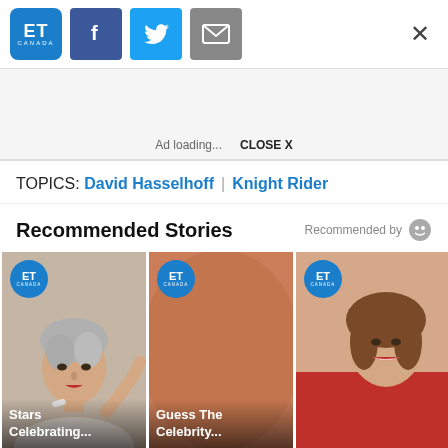ET Canada logo, Facebook share, Twitter share, Email share, Close
[Figure (screenshot): Ad loading area with grey background]
Ad loading...   CLOSE X
TOPICS: David Hasselhoff | Knight Rider
Recommended Stories
[Figure (photo): Three recommended story cards: 'Stars Celebrating...', 'Guess The Celebrity...', and a third partially visible story, each with ET Canada badge]
Stars Celebrating...
Guess The Celebrity...